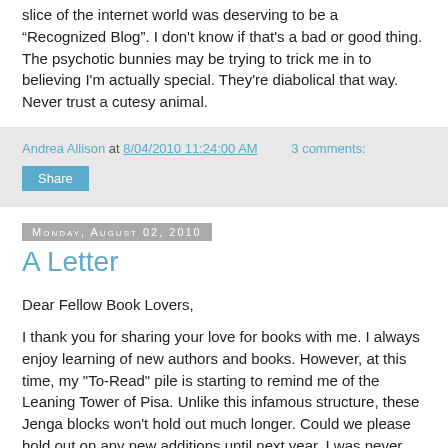slice of the internet world was deserving to be a “Recognized Blog”. I don't know if that's a bad or good thing. The psychotic bunnies may be trying to trick me in to believing I'm actually special. They're diabolical that way. Never trust a cutesy animal.
Andrea Allison at 8/04/2010 11:24:00 AM   3 comments:
Share
Monday, August 02, 2010
A Letter
Dear Fellow Book Lovers,
I thank you for sharing your love for books with me. I always enjoy learning of new authors and books. However, at this time, my "To-Read" pile is starting to remind me of the Leaning Tower of Pisa. Unlike this infamous structure, these Jenga blocks won't hold out much longer. Could we please hold out on any new additions until next year. I was never